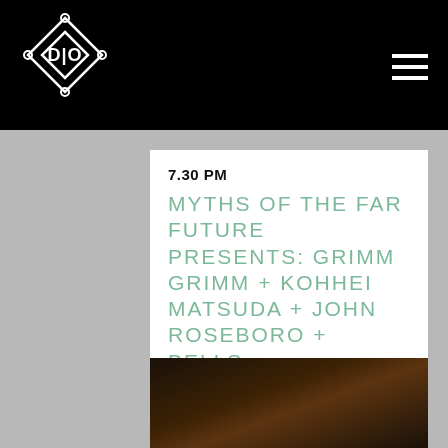7.30 PM
MYTHS OF THE FAR FUTURE PRESENTS: GRIMM GRIMM + KOHHEI MATSUDA + JOHN ROSEBORO + BELLS
Price: £10 adv/£12 OTD
BUY TICKETS
[Figure (photo): Dark atmospheric image with warm orange/amber tones, partially visible at bottom of page]